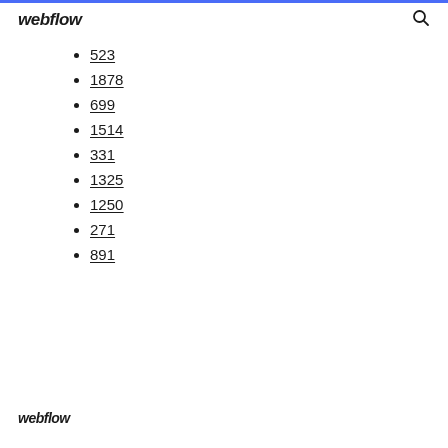webflow
523
1878
699
1514
331
1325
1250
271
891
webflow